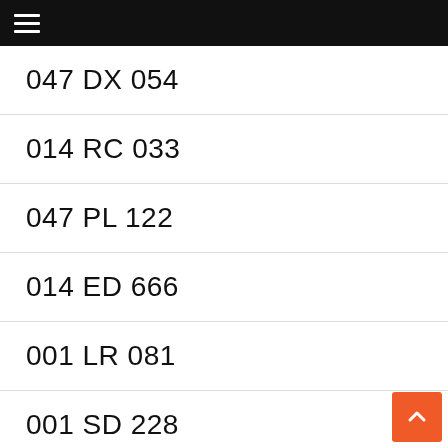≡
047 DX 054
014 RC 033
047 PL 122
014 ED 666
001 LR 081
001 SD 228
014 RC 021
161 EX 015